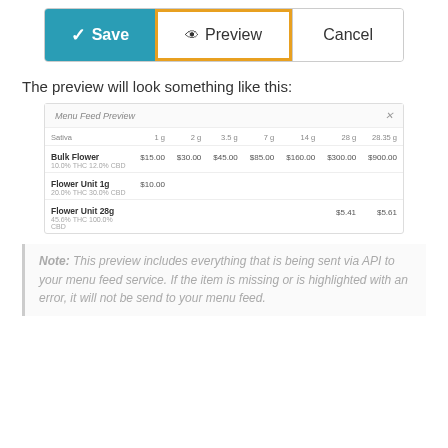[Figure (screenshot): Three buttons: Save (teal), Preview (outlined in orange), Cancel (white)]
The preview will look something like this:
[Figure (screenshot): Menu Feed Preview panel showing Sativa category with columns 1g, 2g, 3.5g, 7g, 14g, 28g, 28.35g, and three items: Bulk Flower (10.0% THC 12.0% CBD) with prices $15.00 $30.00 $45.00 $85.00 $160.00 $300.00 $900.00; Flower Unit 1g (20.0% THC 30.0% CBD) $10.00; Flower Unit 28g (45.6% THC 100.0% CBD) $5.41 $5.61]
Note: This preview includes everything that is being sent via API to your menu feed service. If the item is missing or is highlighted with an error, it will not be send to your menu feed.